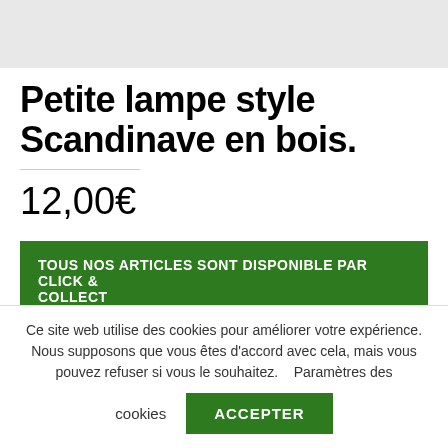[Figure (photo): Product image placeholder (grey box at top)]
Petite lampe style Scandinave en bois.
12,00€
TOUS NOS ARTICLES SONT DISPONIBLE PAR CLICK & COLLECT
« Pour connaitre vos frais de livraison, mettez l'article dans le panier
Ce site web utilise des cookies pour améliorer votre expérience. Nous supposons que vous êtes d'accord avec cela, mais vous pouvez refuser si vous le souhaitez.    Paramètres des cookies
ACCEPTER